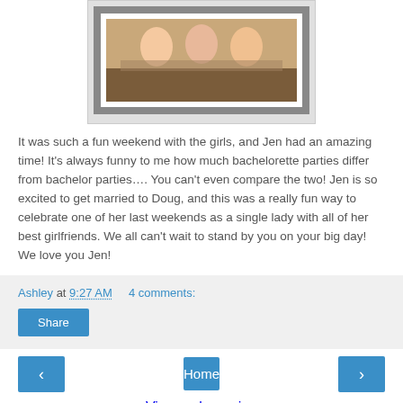[Figure (photo): A framed photo of girls at a bachelorette party, sitting around a table, with a white frame border]
It was such a fun weekend with the girls, and Jen had an amazing time! It's always funny to me how much bachelorette parties differ from bachelor parties…. You can't even compare the two! Jen is so excited to get married to Doug, and this was a really fun way to celebrate one of her last weekends as a single lady with all of her best girlfriends. We all can't wait to stand by you on your big day! We love you Jen!
Ashley at 9:27 AM    4 comments:
Share
Home
View web version
Powered by Blogger.